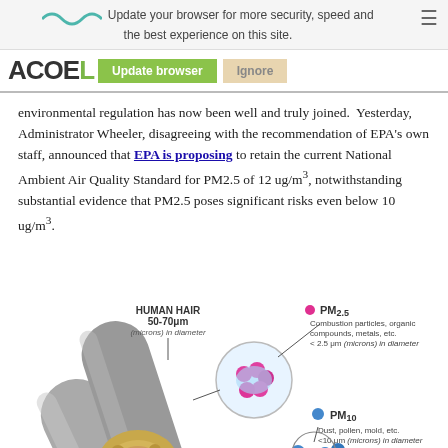Update your browser for more security, speed and the best experience on this site.
ACOEL  [Update browser]  [Ignore]
environmental regulation has now been well and truly joined.  Yesterday, Administrator Wheeler, disagreeing with the recommendation of EPA’s own staff, announced that EPA is proposing to retain the current National Ambient Air Quality Standard for PM2.5 of 12 ug/m³, notwithstanding substantial evidence that PM2.5 poses significant risks even below 10 ug/m³.
[Figure (illustration): Scientific illustration comparing particle sizes: a human hair (50-70 micrometers in diameter), PM2.5 particles (combustion particles, organic compounds, metals, etc., less than 2.5 micrometers in diameter shown as small pink beads in a magnified circle), and PM10 particles (dust, pollen, mold, etc., less than 10 micrometers in diameter shown as blue beads). Also shows a pollen grain for scale.]